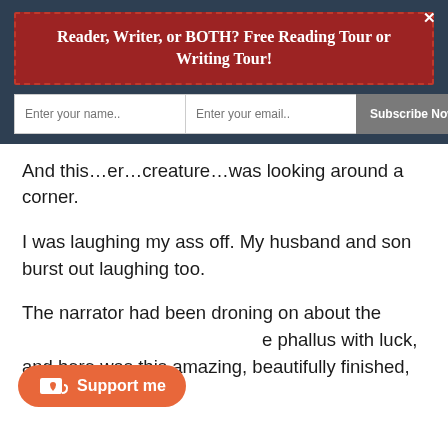Reader, Writer, or BOTH? Free Reading Tour or Writing Tour!
And this…er…creature…was looking around a corner.
I was laughing my ass off. My husband and son burst out laughing too.
The narrator had been droning on about the phallus with luck, and here was this amazing, beautifully finished, exquisitely